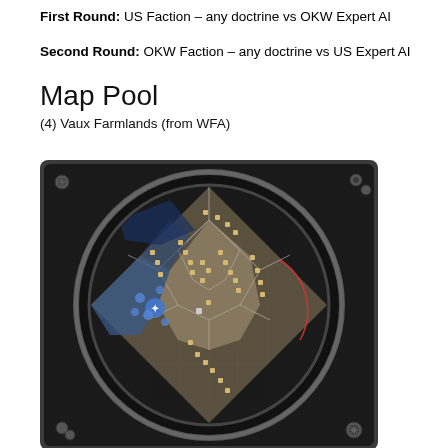First Round: US Faction – any doctrine vs OKW Expert AI
Second Round: OKW Faction – any doctrine vs US Expert AI
Map Pool
(4) Vaux Farmlands (from WFA)
[Figure (screenshot): In-game minimap radar view of Vaux Farmlands map from Company of Heroes WFA expansion, showing a diamond-shaped battlefield with territorial zones, capture points, and a blue-highlighted area on the left side indicating player position. The map is displayed within a circular radar frame with metallic border and corner bolts.]